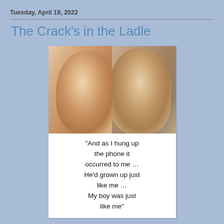Tuesday, April 19, 2022
The Crack's in the Ladle
[Figure (photo): Meme image showing two older and younger men side by side with a caption below reading: "And as I hung up the phone it occurred to me ... He'd grown up just like me ... My boy was just like me"]
"And as I hung up the phone it occurred to me ... He'd grown up just like me ... My boy was just like me"